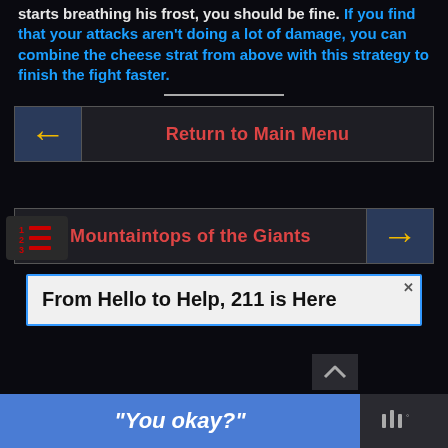starts breathing his frost, you should be fine. If you find that your attacks aren't doing a lot of damage, you can combine the cheese strat from above with this strategy to finish the fight faster.
[Figure (infographic): Navigation button: left arrow icon with blue background, dark button labeled 'Return to Main Menu' in red/orange text]
[Figure (infographic): Navigation button: dark button labeled 'Mountaintops of the Giants' in red/orange text, right arrow icon with blue background]
[Figure (infographic): Advertisement banner: 'From Hello to Help, 211 is Here' on light gray/blue background]
[Figure (infographic): Bottom bar with blue button labeled '"You okay?"' and dark right panel with music icon]